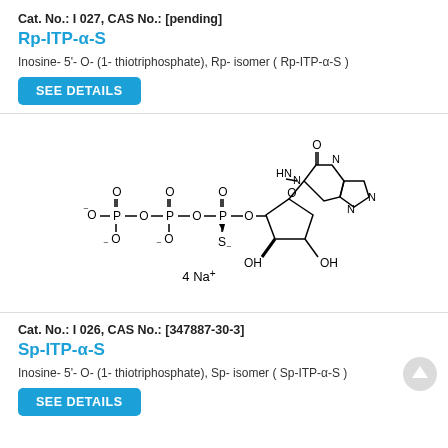Cat. No.: I 027, CAS No.: [pending]
Rp-ITP-α-S
Inosine- 5'- O- (1- thiotriphosphate), Rp- isomer ( Rp-ITP-α-S )
SEE DETAILS
[Figure (schematic): Chemical structure of Rp-ITP-α-S (inosine thiotriphosphate Rp isomer) showing a purine base (hypoxanthine) connected to a ribose sugar, with a triphosphate chain bearing a thio group (S) on the alpha phosphate. 4 Na+ counterions shown.]
Cat. No.: I 026, CAS No.: [347887-30-3]
Sp-ITP-α-S
Inosine- 5'- O- (1- thiotriphosphate), Sp- isomer ( Sp-ITP-α-S )
SEE DETAILS